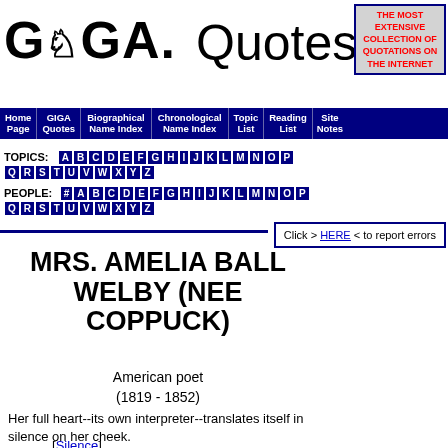GIGA. Quotes
THE MOST EXTENSIVE COLLECTION OF QUOTATIONS ON THE INTERNET
Home Page | GIGA Quotes | Biographical Name Index | Chronological Name Index | Topic List | Reading List | Site Notes
TOPICS: A B C D E F G H I J K L M N O P Q R S T U V W X Y Z
PEOPLE: # A B C D E F G H I J K L M N O P Q R S T U V W X Y Z
Click > HERE < to report errors
MRS. AMELIA BALL WELBY (NEE COPPUCK)
American poet
(1819 - 1852)
Her full heart--its own interpreter--translates itself in silence on her cheek.
[Silence]